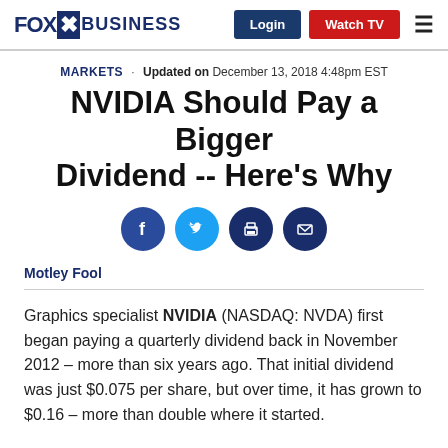FOX BUSINESS | Login | Watch TV
MARKETS · Updated on December 13, 2018 4:48pm EST
NVIDIA Should Pay a Bigger Dividend -- Here's Why
[Figure (illustration): Social sharing icons: Facebook, Twitter, Print, Email]
Motley Fool
Graphics specialist NVIDIA (NASDAQ: NVDA) first began paying a quarterly dividend back in November 2012 – more than six years ago. That initial dividend was just $0.075 per share, but over time, it has grown to $0.16 – more than double where it started.